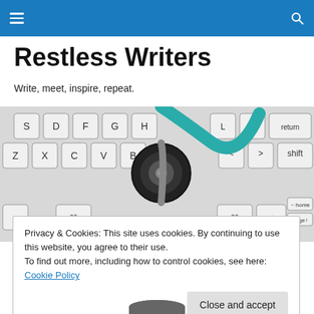Restless Writers navigation bar
Restless Writers
Write, meet, inspire, repeat.
[Figure (photo): A stethoscope resting on a white keyboard, photographed from above. Keyboard keys visible include S, D, F, G, H, Z, X, C, V, B and various punctuation keys. The stethoscope tube is teal/cyan colored.]
Privacy & Cookies: This site uses cookies. By continuing to use this website, you agree to their use.
To find out more, including how to control cookies, see here: Cookie Policy
Close and accept